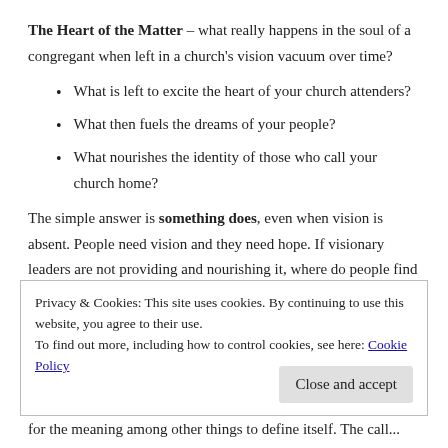The Heart of the Matter – what really happens in the soul of a congregant when left in a church's vision vacuum over time?
What is left to excite the heart of your church attenders?
What then fuels the dreams of your people?
What nourishes the identity of those who call your church home?
The simple answer is something does, even when vision is absent. People need vision and they need hope. If visionary leaders are not providing and nourishing it, where do people find meaning?
Privacy & Cookies: This site uses cookies. By continuing to use this website, you agree to their use.
To find out more, including how to control cookies, see here: Cookie Policy
for the meaning among other things to define itself. The call...